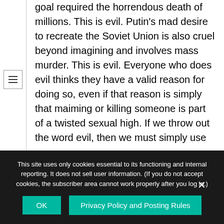goal required the horrendous death of millions. This is evil. Putin's mad desire to recreate the Soviet Union is also cruel beyond imagining and involves mass murder. This is evil. Everyone who does evil thinks they have a valid reason for doing so, even if that reason is simply that maiming or killing someone is part of a twisted sexual high. If we throw out the word evil, then we must simply use another word to describe this very true
This site uses only cookies essential to its functioning and internal reporting. It does not sell user information. (If you do not accept cookies, the subscriber area cannot work properly after you log in.)